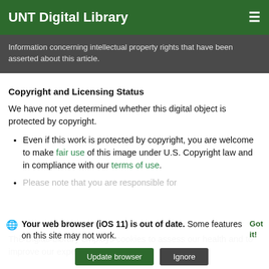UNT Digital Library
Information concerning intellectual property rights that have been asserted about this article.
Copyright and Licensing Status
We have not yet determined whether this digital object is protected by copyright.
Even if this work is protected by copyright, you are welcome to make fair use of this image under U.S. Copyright law and in compliance with our terms of use.
Please note that you are responsible for
Your web browser (iOS 11) is out of date. Some features on this site may not work.
The Digital Library employs cookies to assess our health and to improve our experience